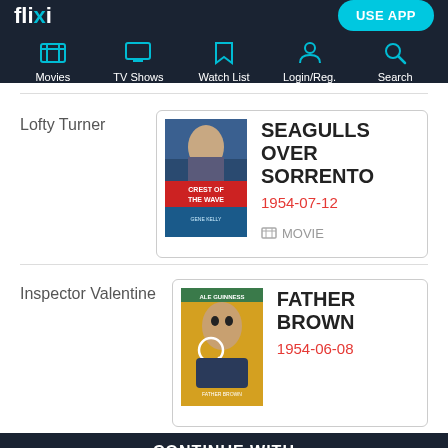flixi
Movies
TV Shows
Watch List
Login/Reg.
Search
Lofty Turner
SEAGULLS OVER SORRENTO
1954-07-12
[film icon] MOVIE
Inspector Valentine
FATHER BROWN
1954-06-08
CONTINUE WITH
FLIXI APP
CHROME